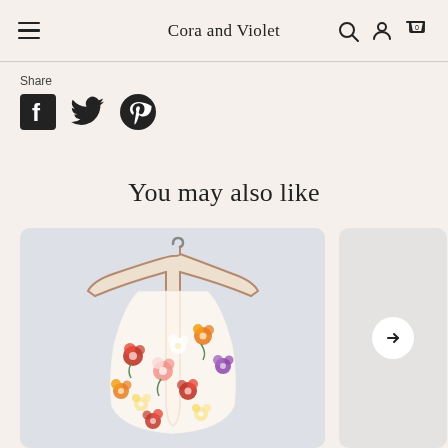Cora and Violet
Share
[Figure (screenshot): Social share icons: Facebook, Twitter, Pinterest]
You may also like
[Figure (photo): A child's floral dress on a wooden hanger against a light gray background, decorated with colorful felt flowers including red, pink, orange, purple and yellow blooms.]
[Figure (other): Partially visible second product card with a right arrow navigation button in a white circle.]